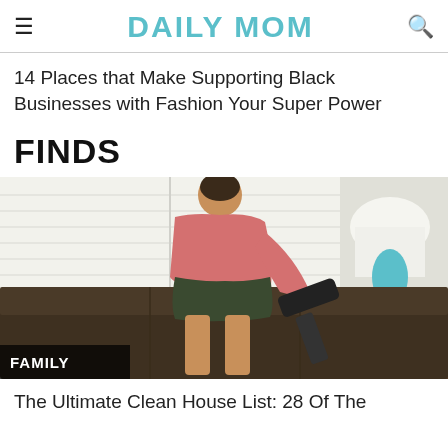DAILY MOM
14 Places that Make Supporting Black Businesses with Fashion Your Super Power
FINDS
[Figure (photo): A man in a pink shirt and dark shorts leaning over a dark brown sofa, using a handheld vacuum cleaner. White shuttered windows and a teal lamp on a nightstand visible in the background. A 'FAMILY' category badge overlays the bottom-left corner.]
The Ultimate Clean House List: 28 Of The